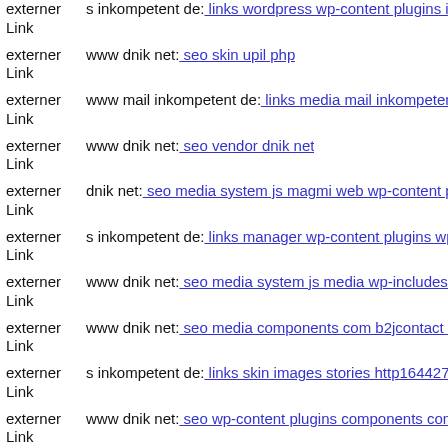externer Link  s inkompetent de: links wordpress wp-content plugins ioptim...
externer Link  www dnik net: seo skin upil php
externer Link  www mail inkompetent de: links media mail inkompetent d...
externer Link  www dnik net: seo vendor dnik net
externer Link  dnik net: seo media system js magmi web wp-content plugi...
externer Link  s inkompetent de: links manager wp-content plugins wp-file...
externer Link  www dnik net: seo media system js media wp-includes incl...
externer Link  www dnik net: seo media components com b2jcontact medi...
externer Link  s inkompetent de: links skin images stories http164427605...
externer Link  www dnik net: seo wp-content plugins components com fo...
externer Link  dnik net: seo media system js wp-admin includes plugins co...
externer Link  dnik net: seo media system js media skin wp-content theme...